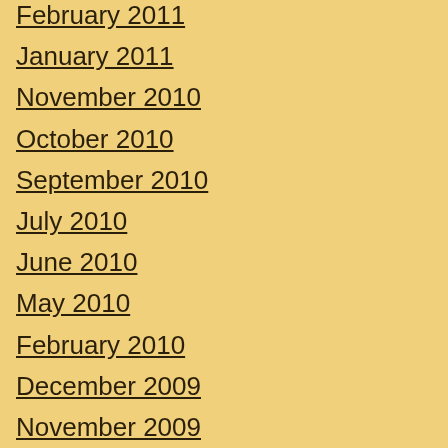February 2011
January 2011
November 2010
October 2010
September 2010
July 2010
June 2010
May 2010
February 2010
December 2009
November 2009
October 2009
June 2009
May 2009